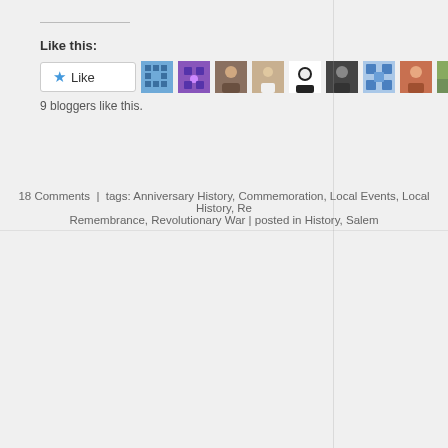Like this:
[Figure (other): Like button with star icon and 9 blogger avatar thumbnails]
9 bloggers like this.
18 Comments | tags: Anniversary History, Commemoration, Local Events, Local History, Remembrance, Revolutionary War | posted in History, Salem